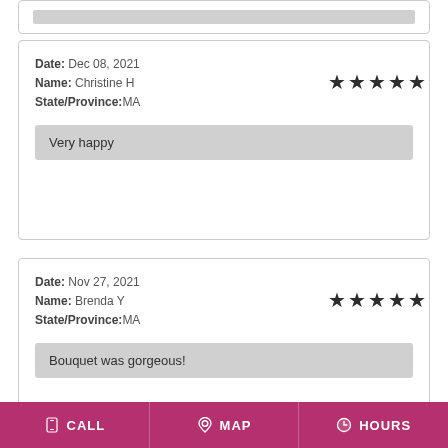Date: Dec 08, 2021
Name: Christine H
State/Province:MA
Very happy
Date: Nov 27, 2021
Name: Brenda Y
State/Province:MA
Bouquet was gorgeous!
CALL  MAP  HOURS